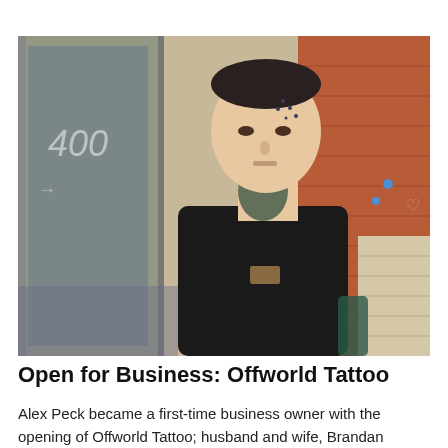[Figure (photo): A young man with facial and neck tattoos wearing a black Carhartt t-shirt, standing in front of a building entrance with a red brick wall and glass door marked '400'. He is looking directly at the camera.]
Open for Business: Offworld Tattoo
Alex Peck became a first-time business owner with the opening of Offworld Tattoo; husband and wife, Brandan